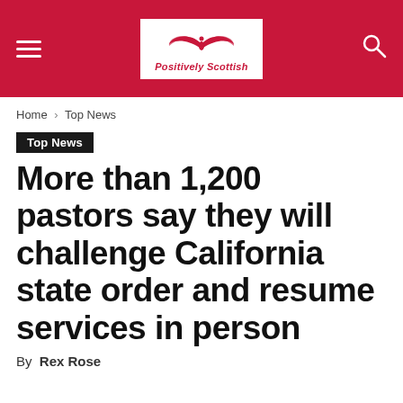Positively Scottish — navigation header with hamburger menu, logo, and search icon
Home › Top News
Top News
More than 1,200 pastors say they will challenge California state order and resume services in person
By Rex Rose